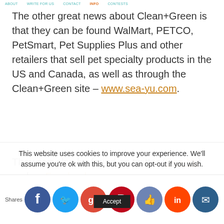ABOUT   WRITE FOR US   CONTACT   INFO   CONTESTS
The other great news about Clean+Green is that they can be found WalMart, PETCO, PetSmart, Pet Supplies Plus and other retailers that sell pet specialty products in the US and Canada, as well as through the Clean+Green site – www.sea-yu.com.
They can also be found on twitter (Sea-Yu) and on Facebook
This website uses cookies to improve your experience. We'll assume you're ok with this, but you can opt-out if you wish.
Shares  [Facebook] [Twitter] [Google+] [Pinterest] [Thumbs Up] [Reddit] [Other]